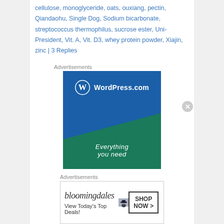cellulose, monoglyceride, oats, ouxiang, pectin, Qiandaohu, Single Dog, Sodium bicarbonate, streptococcus thermophilus, sucrose ester, Uni-President, Vit. A, Vit. D3, whey protein powder, Xiajin, zinc | 3 Replies
Advertisements
[Figure (other): WordPress.com advertisement banner with blue and green gradient background, WordPress logo and tagline 'Everything you need']
Advertisements
[Figure (other): Bloomingdales advertisement with logo, 'View Today's Top Deals!' text, woman in large hat, and 'SHOP NOW >' button]